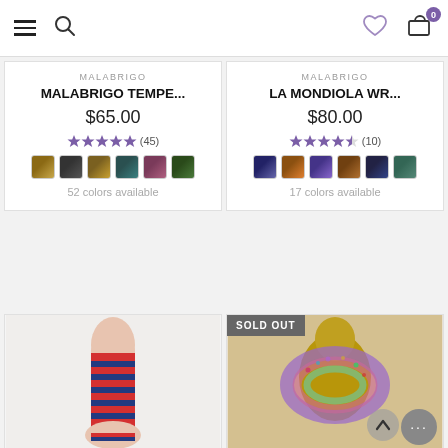[Figure (screenshot): E-commerce navigation bar with hamburger menu, search icon, heart/wishlist icon, and cart icon with badge showing 0]
MALABRIGO
MALABRIGO TEMPE...
$65.00
★★★★★ (45)
52 colors available
MALABRIGO
LA MONDIOLA WR...
$80.00
★★★★½ (10)
17 colors available
[Figure (photo): Striped red and blue knee-high sock on a leg/foot, partially shown]
[Figure (photo): Colorful knitted infinity scarf/cowl on a mannequin bust with SOLD OUT badge overlay]